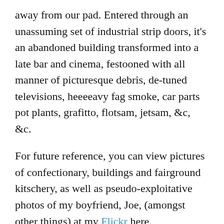away from our pad. Entered through an unassuming set of industrial strip doors, it's an abandoned building transformed into a late bar and cinema, festooned with all manner of picturesque debris, de-tuned televisions, heeeeavy fag smoke, car parts pot plants, grafitto, flotsam, jetsam, &c, &c.
For future reference, you can view pictures of confectionary, buildings and fairground kitschery, as well as pseudo-exploitative photos of my boyfriend, Joe, (amongst other things) at my Flickr here.
* And the relevance of the picture at the top of this entry? Well, I like to sample my cultural difference at the supermarket – here the milk